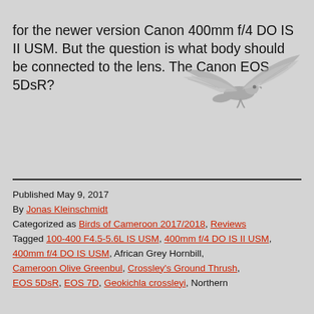for the newer version Canon 400mm f/4 DO IS II USM. But the question is what body should be connected to the lens. The Canon EOS 5DsR?
[Figure (photo): A bird of prey (hawk or osprey) in flight, wings spread, viewed from below against a grey sky background]
Published May 9, 2017
By Jonas Kleinschmidt
Categorized as Birds of Cameroon 2017/2018, Reviews
Tagged 100-400 F4.5-5.6L IS USM, 400mm f/4 DO IS II USM, 400mm f/4 DO IS USM, African Grey Hornbill, Cameroon Olive Greenbul, Crossley's Ground Thrush, EOS 5DsR, EOS 7D, Geokichla crossleyi, Northern